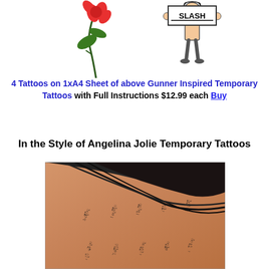[Figure (illustration): Two clipart tattoo illustrations: a rose/flower with green leaves on the left, and a cartoon figure holding a sign that reads SLASH on the right]
4 Tattoos on 1xA4 Sheet of above Gunner Inspired Temporary Tattoos with Full Instructions $12.99 each Buy
In the Style of Angelina Jolie Temporary Tattoos
[Figure (photo): Close-up photo of Angelina Jolie's back/shoulder showing Thai script tattoo in multiple vertical columns on skin]